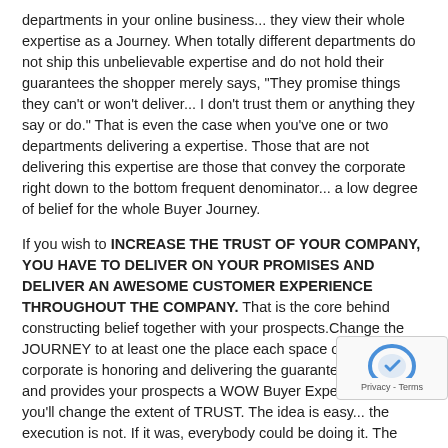departments in your online business... they view their whole expertise as a Journey. When totally different departments do not ship this unbelievable expertise and do not hold their guarantees the shopper merely says, "They promise things they can't or won't deliver... I don't trust them or anything they say or do." That is even the case when you've one or two departments delivering a expertise. Those that are not delivering this expertise are those that convey the corporate right down to the bottom frequent denominator... a low degree of belief for the whole Buyer Journey.
If you wish to INCREASE THE TRUST OF YOUR COMPANY, YOU HAVE TO DELIVER ON YOUR PROMISES AND DELIVER AN AWESOME CUSTOMER EXPERIENCE THROUGHOUT THE COMPANY. That is the core behind constructing belief together with your prospects.Change the JOURNEY to at least one the place each space of the corporate is honoring and delivering the guarantees they make and provides your prospects a WOW Buyer Expertise and you'll change the extent of TRUST. The idea is easy... the execution is not. If it was, everybody could be doing it. The analysis would not be telling us that prospects do not feel they get an superior expertise. The client is telling us loud and clear what the reply is to EARNING TRUST... the query is whether or not or not we'll hear and alter our CUSTOMER JOURNEY to at least one that creates TRUST reasonably than erodes it.I might encourage each chief to take stock of their firm's buyer